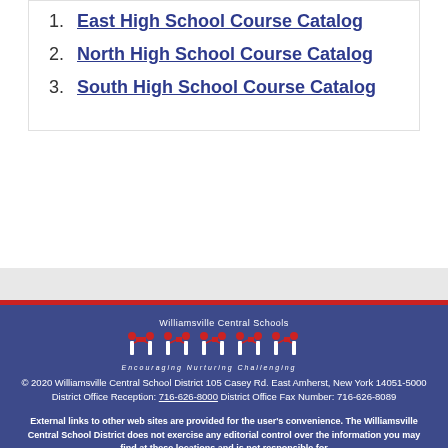1. East High School Course Catalog
2. North High School Course Catalog
3. South High School Course Catalog
[Figure (logo): Williamsville Central Schools logo with stylized figures holding flags and tagline 'Encouraging Nurturing Challenging']
© 2020 Williamsville Central School District 105 Casey Rd. East Amherst, New York 14051-5000 District Office Reception: 716-626-8000 District Office Fax Number: 716-626-8089
External links to other web sites are provided for the user's convenience. The Williamsville Central School District does not exercise any editorial control over the information you may find at these locations and is not responsible for